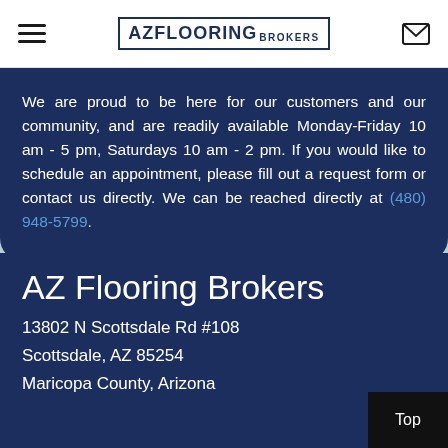AZ FLOORING BROKERS
We are proud to be here for our customers and our community, and are readily available Monday-Friday 10 am - 5 pm, Saturdays 10 am - 2 pm. If you would like to schedule an appointment, please fill out a request form or contact us directly. We can be reached directly at (480) 948-5799.
AZ Flooring Brokers
13802 N Scottsdale Rd #108
Scottsdale, AZ 85254
Maricopa County, Arizona